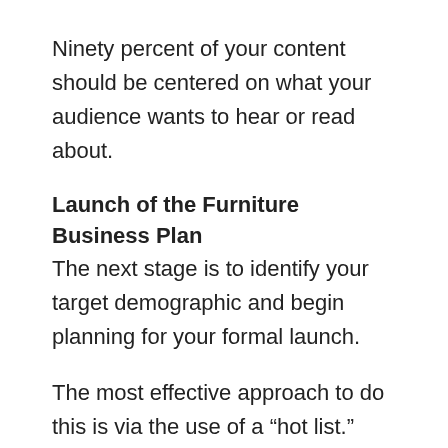Ninety percent of your content should be centered on what your audience wants to hear or read about.
Launch of the Furniture Business Plan
The next stage is to identify your target demographic and begin planning for your formal launch.
The most effective approach to do this is via the use of a “hot list.”
A hotlist is essentially a newsletter that